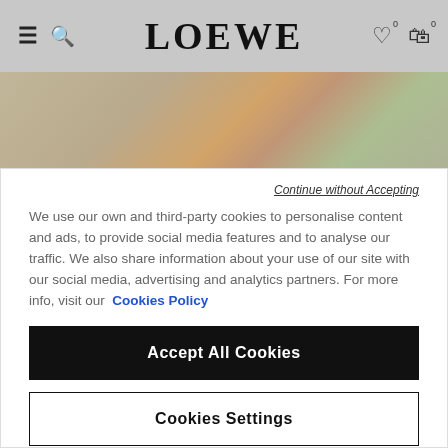LOEWE
[Figure (photo): Close-up product photo with blurred background showing colorful items on a surface]
Continue without Accepting
We use our own and third-party cookies to personalise content and ads, to provide social media features and to analyse our traffic. We also share information about your use of our site with our social media, advertising and analytics partners. For more info, visit our  Cookies Policy
Accept All Cookies
Cookies Settings